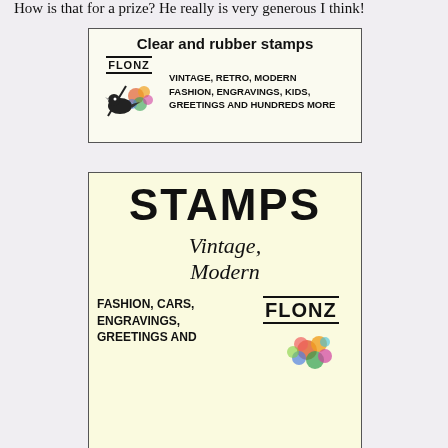How is that for a prize? He really is very generous I think!
[Figure (advertisement): Flonz ad banner: 'Clear and rubber stamps' with logo, bird illustration, and categories: VINTAGE, RETRO, MODERN, FASHION, ENGRAVINGS, KIDS, GREETINGS AND HUNDREDS MORE]
[Figure (advertisement): Flonz ad banner: large 'STAMPS' heading, 'Vintage, Modern' text, and categories FASHION, CARS, ENGRAVINGS, GREETINGS AND with Flonz logo and flower illustration]